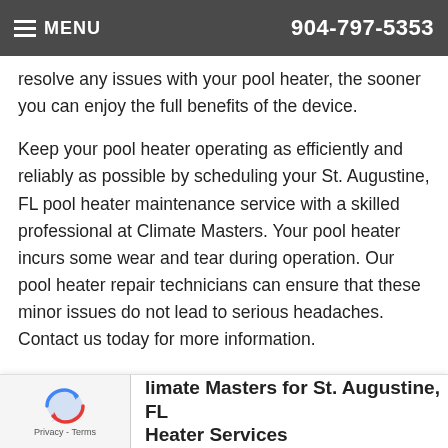MENU 904-797-5353
resolve any issues with your pool heater, the sooner you can enjoy the full benefits of the device.
Keep your pool heater operating as efficiently and reliably as possible by scheduling your St. Augustine, FL pool heater maintenance service with a skilled professional at Climate Masters. Your pool heater incurs some wear and tear during operation. Our pool heater repair technicians can ensure that these minor issues do not lead to serious headaches. Contact us today for more information.
Climate Masters for St. Augustine, FL Pool Heater Services